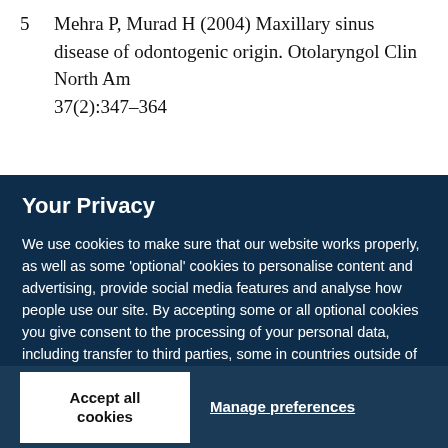5  Mehra P, Murad H (2004) Maxillary sinus disease of odontogenic origin. Otolaryngol Clin North Am 37(2):347–364
Your Privacy
We use cookies to make sure that our website works properly, as well as some 'optional' cookies to personalise content and advertising, provide social media features and analyse how people use our site. By accepting some or all optional cookies you give consent to the processing of your personal data, including transfer to third parties, some in countries outside of the European Economic Area that do not offer the same data protection standards as the country where you live. You can decide which optional cookies to accept by clicking on 'Manage Settings', where you can also find more information about how your personal data is processed. Further information can be found in our privacy policy.
Accept all cookies
Manage preferences